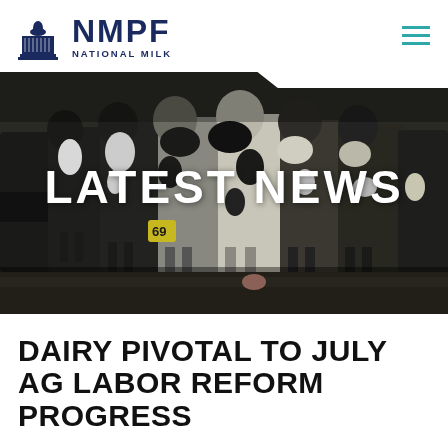[Figure (logo): NMPF National Milk Producers Federation logo with capitol building icon]
[Figure (photo): Row of black and white Holstein dairy cows grazing, seen from the side, with yellow ear tag numbered 69 visible]
LATEST NEWS
DAIRY PIVOTAL TO JULY AG LABOR REFORM PROGRESS